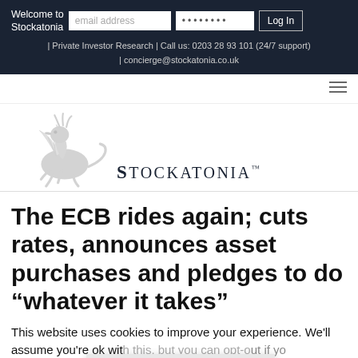Welcome to Stockatonia | Private Investor Research | Call us: 0203 28 93 101 (24/7 support) | concierge@stockatonia.co.uk
[Figure (logo): Stockatonia griffin logo with text STOCKATONIA]
The ECB rides again; cuts rates, announces asset purchases and pledges to do “whatever it takes”
This website uses cookies to improve your experience. We'll assume you're ok with this, but you can opt-out if you wish.
Accept | Leave a message | Leave a message | Read More